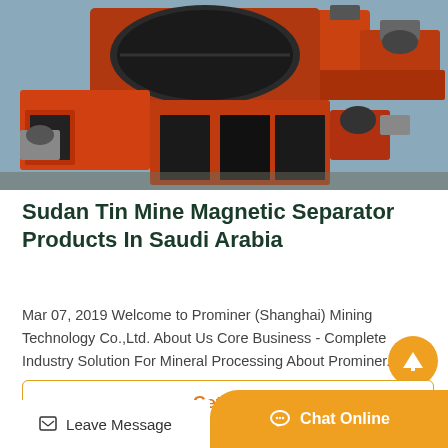[Figure (photo): Orange industrial magnetic separator machines photographed outdoors in a large yard with multiple units visible]
Sudan Tin Mine Magnetic Separator Products In Saudi Arabia
Mar 07, 2019 Welcome to Prominer (Shanghai) Mining Technology Co.,Ltd. About Us Core Business - Complete Industry Solution For Mineral Processing About Prominer...
Get Pri...
Leave Message
Chat Online